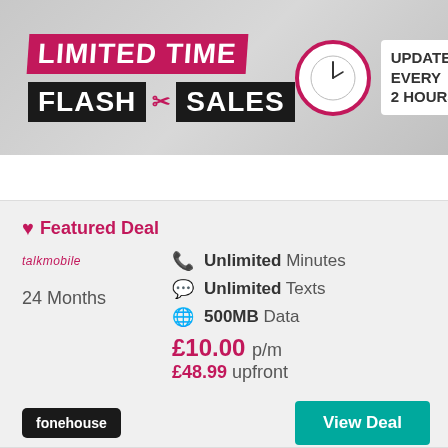[Figure (infographic): Limited Time Flash Sales banner with pink/magenta branding, clock icon, and 'Updated Every 2 Hours' text on grey background]
♥ Featured Deal
talkmobile
24 Months
Unlimited Minutes
Unlimited Texts
500MB Data
£10.00 p/m
£48.99 upfront
fonehouse
View Deal